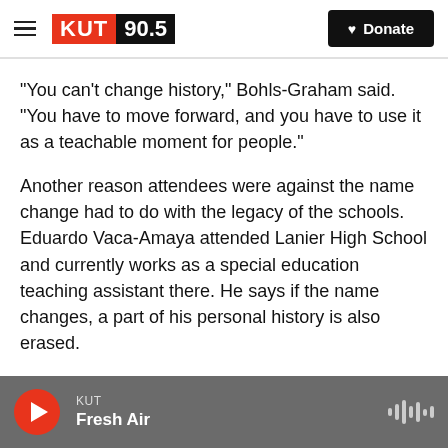KUT 90.5 | Donate
“You can’t change history,” Bohls-Graham said. “You have to move forward, and you have to use it as a teachable moment for people.”
Another reason attendees were against the name change had to do with the legacy of the schools. Eduardo Vaca-Amaya attended Lanier High School and currently works as a special education teaching assistant there. He says if the name changes, a part of his personal history is also erased.
KUT | Fresh Air